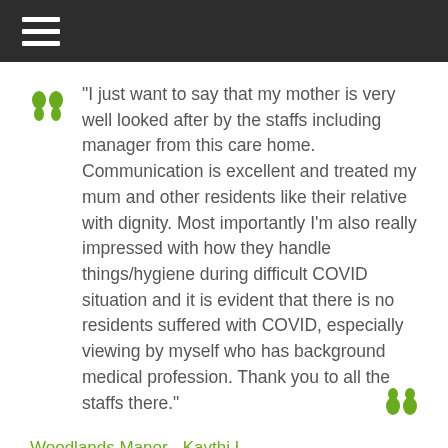"I just want to say that my mother is very well looked after by the staffs including manager from this care home. Communication is excellent and treated my mum and other residents like their relative with dignity. Most importantly I'm also really impressed with how they handle things/hygiene during difficult COVID situation and it is evident that there is no residents suffered with COVID, especially viewing by myself who has background medical profession. Thank you to all the staffs there."
Woodlands Manor - Kaythi L
11 SEPTEMBER 2020